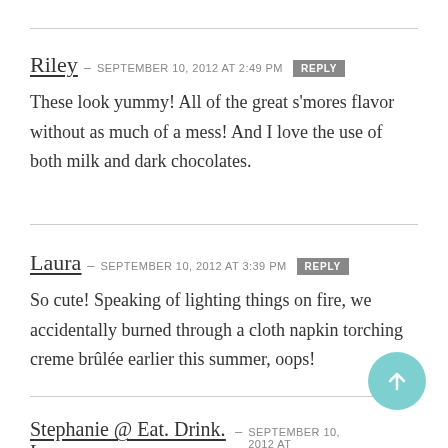Riley — SEPTEMBER 10, 2012 at 2:49 PM REPLY
These look yummy! All of the great s'mores flavor without as much of a mess! And I love the use of both milk and dark chocolates.
Laura — SEPTEMBER 10, 2012 at 3:39 PM REPLY
So cute! Speaking of lighting things on fire, we accidentally burned through a cloth napkin torching creme brûlée earlier this summer, oops!
Stephanie @ Eat. Drink. Love. — SEPTEMBER 10, 2012 at